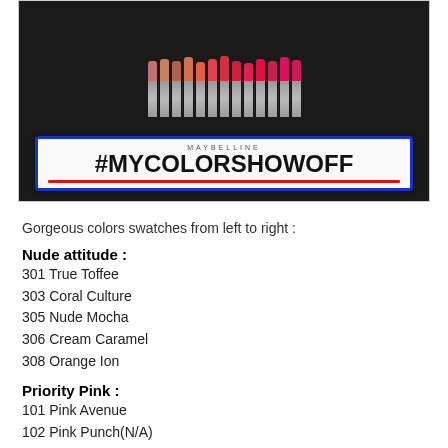[Figure (photo): Photo of multiple Maybelline lipsticks arranged in a row on a dark surface, with a Maybelline #MYCOLORSHOWOFF sign in the foreground.]
Gorgeous colors swatches from left to right :
Nude attitude :
301 True Toffee
303 Coral Culture
305 Nude Mocha
306 Cream Caramel
308 Orange Ion
Priority Pink :
101 Pink Avenue
102 Pink Punch(N/A)
104 Pink Paradise